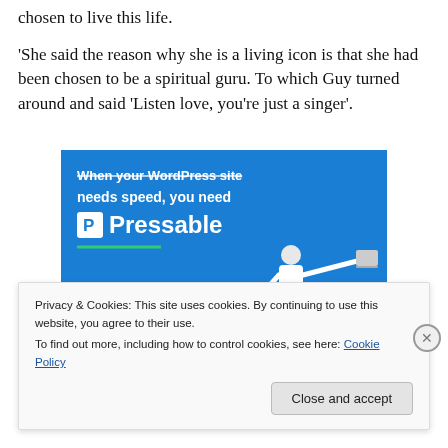chosen to live this life.
'She said the reason why she is a living icon is that she had been chosen to be a spiritual guru. To which Guy turned around and said 'Listen love, you're just a singer'.
[Figure (screenshot): Advertisement banner for Pressable WordPress hosting. Blue background with white bold text 'When your WordPress site needs speed, you need' followed by Pressable logo and brand name. Green underline. Person leaping with laptop in lower right.]
Privacy & Cookies: This site uses cookies. By continuing to use this website, you agree to their use.
To find out more, including how to control cookies, see here: Cookie Policy